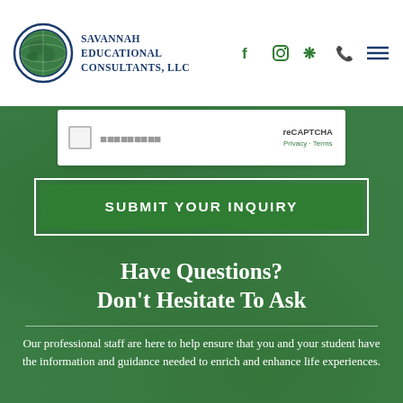[Figure (logo): Savannah Educational Consultants, LLC logo with globe icon and dark blue text]
[Figure (screenshot): Partial reCAPTCHA widget showing checkbox and reCAPTCHA label with Privacy and Terms links]
SUBMIT YOUR INQUIRY
Have Questions?
Don't Hesitate To Ask
Our professional staff are here to help ensure that you and your student have the information and guidance needed to enrich and enhance life experiences.